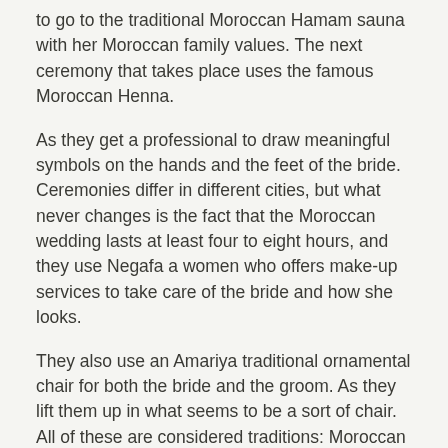to go to the traditional Moroccan Hamam sauna with her Moroccan family values. The next ceremony that takes place uses the famous Moroccan Henna.
As they get a professional to draw meaningful symbols on the hands and the feet of the bride. Ceremonies differ in different cities, but what never changes is the fact that the Moroccan wedding lasts at least four to eight hours, and they use Negafa a women who offers make-up services to take care of the bride and how she looks.
They also use an Amariya traditional ornamental chair for both the bride and the groom. As they lift them up in what seems to be a sort of chair. All of these are considered traditions: Moroccan traditions are certainly one of a kind! And these are the traditions which truely make the Moroccan culture.